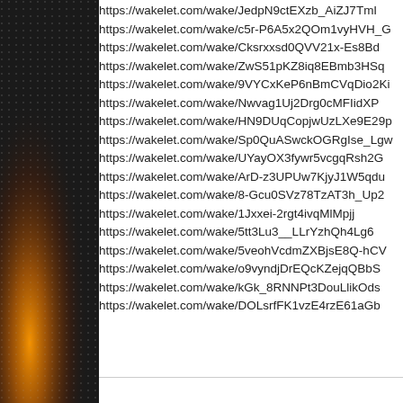[Figure (photo): Decorative left panel with dark background featuring orange/gold flame or abstract design element]
https://wakelet.com/wake/JedpN9ctEXzb_AiZJ7TmI
https://wakelet.com/wake/c5r-P6A5x2QOm1vyHVH_G
https://wakelet.com/wake/Cksrxxsd0QVV21x-Es8Bd
https://wakelet.com/wake/ZwS51pKZ8iq8EBmb3HSq
https://wakelet.com/wake/9VYCxKeP6nBmCVqDio2Ki
https://wakelet.com/wake/Nwvag1Uj2Drg0cMFIidXP
https://wakelet.com/wake/HN9DUqCopjwUzLXe9E29p
https://wakelet.com/wake/Sp0QuASwckOGRgIse_Lgw
https://wakelet.com/wake/UYayOX3fywr5vcgqRsh2G
https://wakelet.com/wake/ArD-z3UPUw7KjyJ1W5qdu
https://wakelet.com/wake/8-Gcu0SVz78TzAT3h_Up2
https://wakelet.com/wake/1Jxxei-2rgt4ivqMlMpjj
https://wakelet.com/wake/5tt3Lu3__LLrYzhQh4Lg6
https://wakelet.com/wake/5veohVcdmZXBjsE8Q-hCV
https://wakelet.com/wake/o9vyndjDrEQcKZejqQBbS
https://wakelet.com/wake/kGk_8RNNPt3DouLlikOds
https://wakelet.com/wake/DOLsrfFK1vzE4rzE61aGb